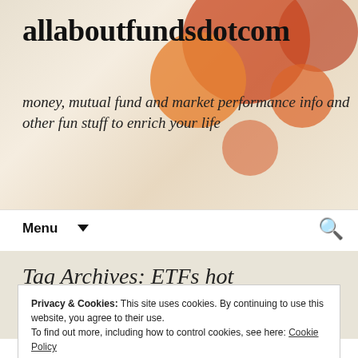allaboutfundsdotcom
money, mutual fund and market performance info and other fun stuff to enrich your life
Menu
Tag Archives: ETFs hot
Privacy & Cookies: This site uses cookies. By continuing to use this website, you agree to their use.
To find out more, including how to control cookies, see here: Cookie Policy
Close and accept